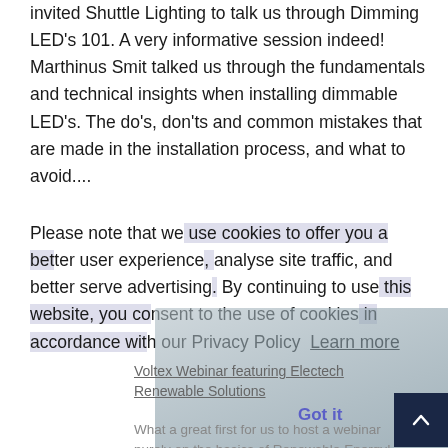invited Shuttle Lighting to talk us through Dimming LED's 101. A very informative session indeed! Marthinus Smit talked us through the fundamentals and technical insights when installing dimmable LED's. The do's, don'ts and common mistakes that are made in the installation process, and what to avoid....
Please note that we use cookies to offer you a better user experience, analyse site traffic, and better serve advertising. By continuing to use this website, you consent to the use of cookies in accordance with our Privacy Policy  Learn more
[Figure (screenshot): Partially visible video thumbnail overlay showing a face and channel branding, semi-transparent, overlapping cookie notice text]
Voltex Webinar featuring Electech Renewable Solutions
Got it
What a great first for us to host a webinar purely on the basics of Renewable Energy! We have